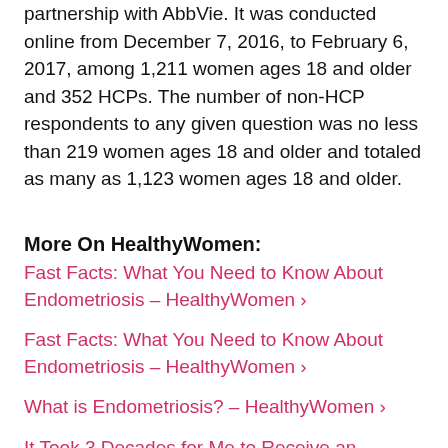partnership with AbbVie. It was conducted online from December 7, 2016, to February 6, 2017, among 1,211 women ages 18 and older and 352 HCPs. The number of non-HCP respondents to any given question was no less than 219 women ages 18 and older and totaled as many as 1,123 women ages 18 and older.
More On HealthyWomen:
Fast Facts: What You Need to Know About Endometriosis - HealthyWomen ›
Fast Facts: What You Need to Know About Endometriosis - HealthyWomen ›
What is Endometriosis? - HealthyWomen ›
It Took 3 Decades for Me to Receive an Endometriosis Diagnosis - HealthyWomen ›